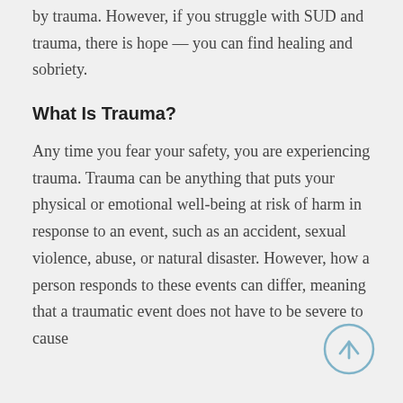by trauma. However, if you struggle with SUD and trauma, there is hope — you can find healing and sobriety.
What Is Trauma?
Any time you fear your safety, you are experiencing trauma. Trauma can be anything that puts your physical or emotional well-being at risk of harm in response to an event, such as an accident, sexual violence, abuse, or natural disaster. However, how a person responds to these events can differ, meaning that a traumatic event does not have to be severe to cause
[Figure (illustration): A circular scroll-to-top button with an upward arrow, styled in light blue/grey outline]